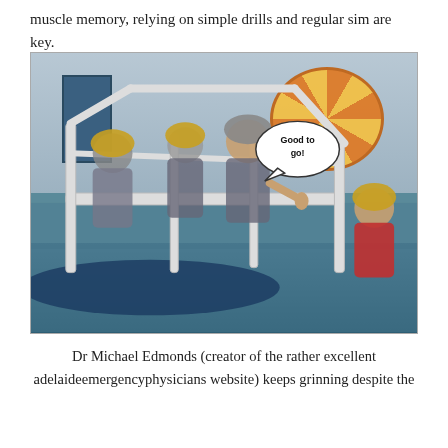muscle memory, relying on simple drills and regular sim are key.
[Figure (photo): People wearing yellow helmets and flight suits seated inside a metal cage simulator (HUET - Helicopter Underwater Escape Trainer) in an indoor pool facility. A large orange life raft ring is visible in the background. A speech bubble reads 'Good to go!' One person gives a thumbs up.]
Dr Michael Edmonds (creator of the rather excellent adelaideemergencyphysicians website) keeps grinning despite the